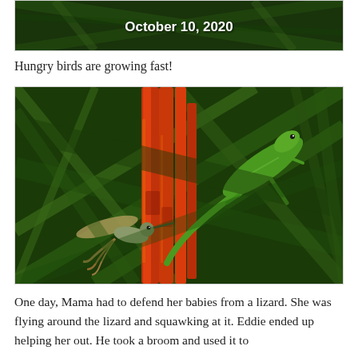[Figure (photo): Top portion of a nature/bird photo with text overlay showing date October 10, 2020, against a green leafy background]
Hungry birds are growing fast!
[Figure (photo): A green lizard (anole or praying mantis) perched on red tropical plant stalks amid green palm fronds, with a hummingbird visible in the lower left flying near the red flowers/stalks]
One day, Mama had to defend her babies from a lizard. She was flying around the lizard and squawking at it. Eddie ended up helping her out. He took a broom and used it to